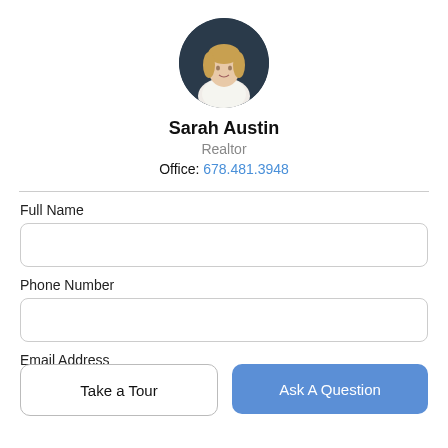[Figure (photo): Circular headshot photo of Sarah Austin, a woman with blonde hair wearing a white top, against a dark background.]
Sarah Austin
Realtor
Office: 678.481.3948
Full Name
Phone Number
Email Address
Take a Tour
Ask A Question